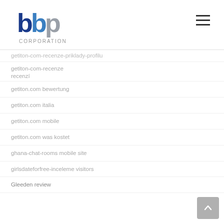BBP Corporation logo and navigation
getiton-com-recenze recenzí
getiton.com bewertung
getiton.com italia
getiton.com mobile
getiton.com was kostet
ghana-chat-rooms mobile site
girlsdateforfree-inceleme visitors
Gleeden review